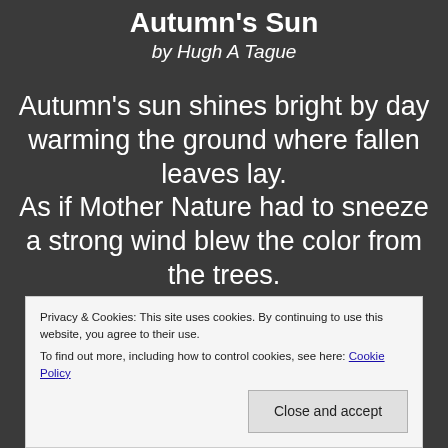Autumn's Sun
by Hugh A Tague
Autumn's sun shines bright by day warming the ground where fallen leaves lay.
As if Mother Nature had to sneeze a strong wind blew the color from the trees.
Privacy & Cookies: This site uses cookies. By continuing to use this website, you agree to their use.
To find out more, including how to control cookies, see here: Cookie Policy
Close and accept